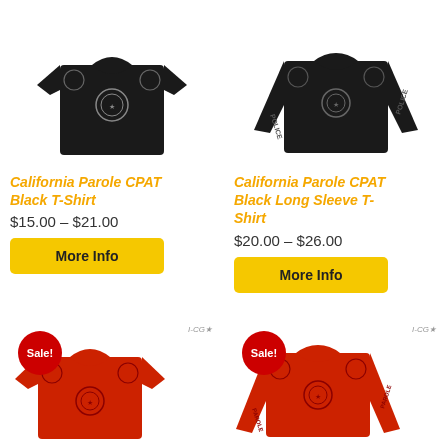[Figure (photo): Black short sleeve t-shirt with badge logo, top-left product]
[Figure (photo): Black long sleeve t-shirt with POLICE text on sleeve, top-right product]
California Parole CPAT Black T-Shirt
$15.00 – $21.00
More Info
California Parole CPAT Black Long Sleeve T-Shirt
$20.00 – $26.00
More Info
[Figure (photo): Red short sleeve t-shirt with Sale badge, bottom-left product]
[Figure (photo): Red long sleeve t-shirt with Sale badge, bottom-right product]